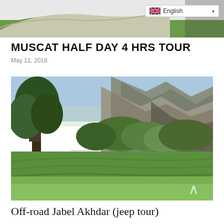[Figure (photo): Partial top image showing a green lawn/grass path with curved edge, likely a golf course or garden scene]
[Figure (other): Language selector dropdown showing UK flag and 'English' text with dropdown arrow]
MUSCAT HALF DAY 4 HRS TOUR
May 11, 2018
[Figure (photo): Landscape photo of Jabel Akhdar showing lush green vegetation, trees, and rocky mountains in background under bright sky]
Off-road Jabel Akhdar (jeep tour)